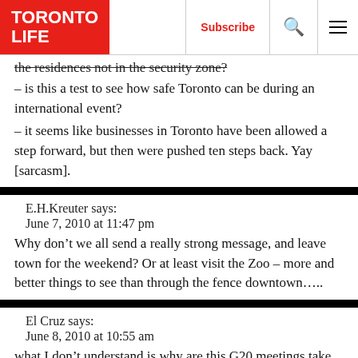TORONTO LIFE | Subscribe | [search] [menu]
the residences not in the security zone?
– is this a test to see how safe Toronto can be during an international event?
– it seems like businesses in Toronto have been allowed a step forward, but then were pushed ten steps back. Yay [sarcasm].
E.H.Kreuter says:
June 7, 2010 at 11:47 pm
Why don’t we all send a really strong message, and leave town for the weekend? Or at least visit the Zoo – more and better things to see than through the fence downtown…..
El Cruz says:
June 8, 2010 at 10:55 am
what I don’t understand is why are this G20 meetings take place
in such of central areas, im sure there a good reason for it, why they don’t do it out side is not like they telling us what